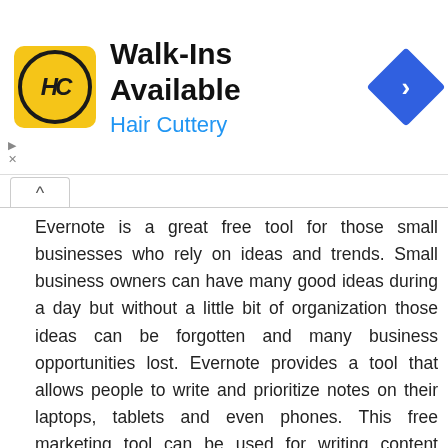[Figure (logo): Hair Cuttery advertisement banner with yellow HC logo, 'Walk-Ins Available' headline, 'Hair Cuttery' subtitle in blue, and blue diamond direction arrow icon]
Evernote is a great free tool for those small businesses who rely on ideas and trends. Small business owners can have many good ideas during a day but without a little bit of organization those ideas can be forgotten and many business opportunities lost. Evernote provides a tool that allows people to write and prioritize notes on their laptops, tablets and even phones. This free marketing tool can be used for writing content ideas, brainstorming ideas and project lists.
Further Reading:  Marketing An Online Store And Increasing Monthly Profits
Share :